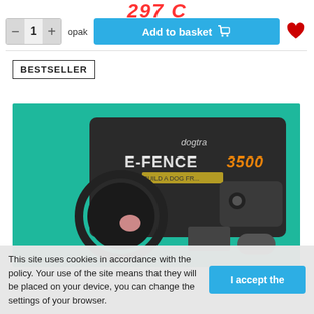297 C
- 1 + opak   Add to basket
BESTSELLER
[Figure (photo): Dogtra E-Fence 3500 product box with collar and transmitter device displayed on a teal/green background.]
This site uses cookies in accordance with the policy. Your use of the site means that they will be placed on your device, you can change the settings of your browser.
I accept the